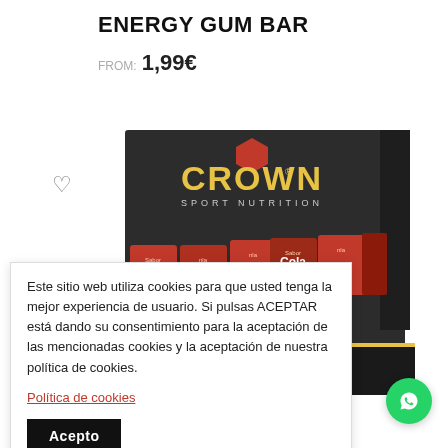ENERGY GUM BAR
FROM: 1,99€
[Figure (photo): Crown Sport Nutrition Energy Gum Bar product display box with cola-flavored gum bars in red packaging arranged inside a dark grey box with Crown Sport Nutrition logo and yellow text]
Este sitio web utiliza cookies para que usted tenga la mejor experiencia de usuario. Si pulsas ACEPTAR está dando su consentimiento para la aceptación de las mencionadas cookies y la aceptación de nuestra política de cookies.
Política de cookies
Acepto